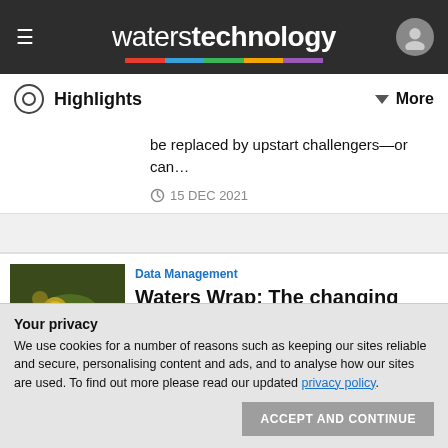waterstechnology
Highlights   More
be replaced by upstart challengers—or can…
15 DEC 2021
Data Management
Waters Wrap: The changing role of the CDO (and NYSE's musical chairs)
Your privacy
We use cookies for a number of reasons such as keeping our sites reliable and secure, personalising content and ads, and to analyse how our sites are used. To find out more please read our updated privacy policy.
ACCEPT AND CONTINUE